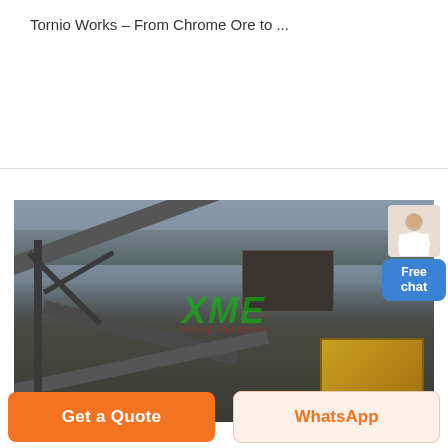Tornio Works – From Chrome Ore to ...
[Figure (photo): Industrial mining/crushing plant with conveyor belts, steel frame structures, and heavy machinery including a yellow machine unit. Overcast sky in background with trees visible on horizon. XME logo watermark overlaid in green.]
Free chat
Get a Quote
WhatsApp